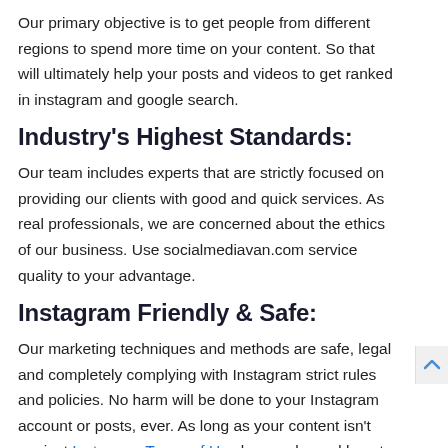Our primary objective is to get people from different regions to spend more time on your content. So that will ultimately help your posts and videos to get ranked in instagram and google search.
Industry's Highest Standards:
Our team includes experts that are strictly focused on providing our clients with good and quick services. As real professionals, we are concerned about the ethics of our business. Use socialmediavan.com service quality to your advantage.
Instagram Friendly & Safe:
Our marketing techniques and methods are safe, legal and completely complying with Instagram strict rules and policies. No harm will be done to your Instagram account or posts, ever. As long as your content isn't against Instagram Terms of Use keep calm and boost your Posts with